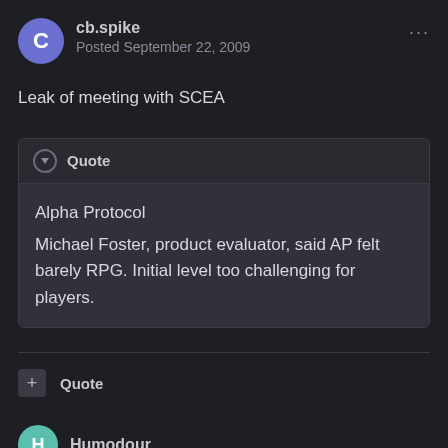cb.spike — Posted September 22, 2009
Leak of meeting with SCEA
Quote
Alpha Protocol
Michael Foster, product evaluator, said AP felt barely RPG. Initial level too challenging for players.
Quote
Humodour